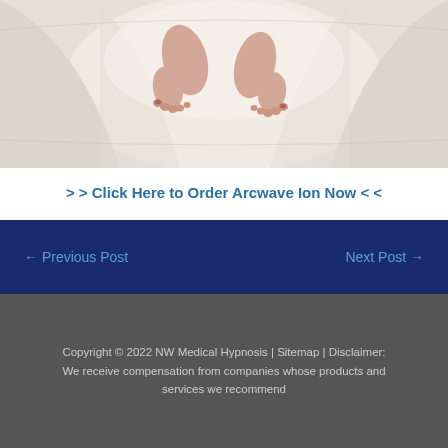[Figure (photo): Aerial view of two people's feet intertwined on a white bed with white sheets]
> > Click Here to Order Arcwave Ion Now < <
← Previous Post
Next Post →
Copyright © 2022 NW Medical Hypnosis | Sitemap | Disclaimer: We receive compensation from companies whose products and services we recommend